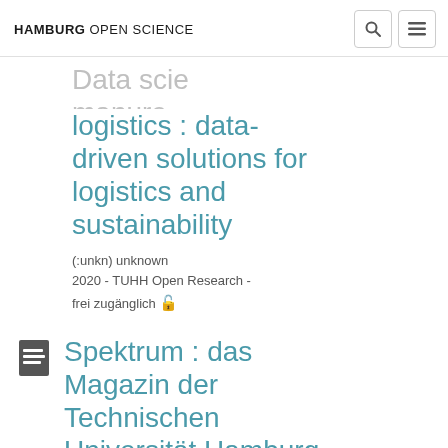HAMBURG OPEN SCIENCE
logistics : data-driven solutions for logistics and sustainability
(:unkn) unknown
2020 - TUHH Open Research - frei zugänglich 🔓
Spektrum : das Magazin der Technischen Universität Hamburg (TUHH), Ausgabe 01/2020